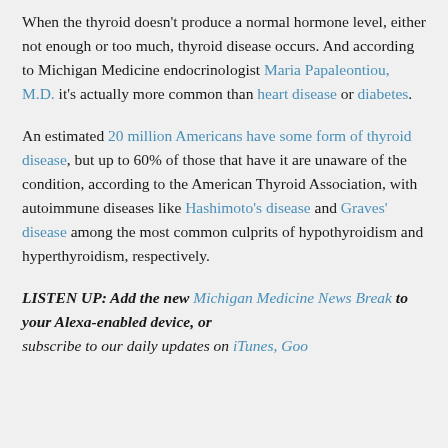When the thyroid doesn't produce a normal hormone level, either not enough or too much, thyroid disease occurs. And according to Michigan Medicine endocrinologist Maria Papaleontiou, M.D. it's actually more common than heart disease or diabetes.
An estimated 20 million Americans have some form of thyroid disease, but up to 60% of those that have it are unaware of the condition, according to the American Thyroid Association, with autoimmune diseases like Hashimoto's disease and Graves' disease among the most common culprits of hypothyroidism and hyperthyroidism, respectively.
LISTEN UP: Add the new Michigan Medicine News Break to your Alexa-enabled device, or subscribe to our daily updates on iTunes, Google Play or Stitcher.